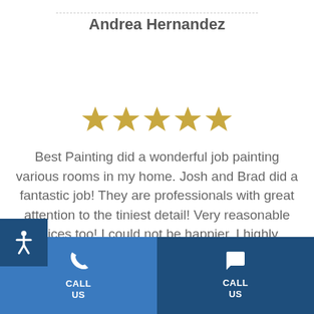Andrea Hernandez
[Figure (illustration): Five gold star rating icons]
Best Painting did a wonderful job painting various rooms in my home. Josh and Brad did a fantastic job! They are professionals with great attention to the tiniest detail! Very reasonable prices too! I could not be happier. I highly recommend!
CALL US | CALL US